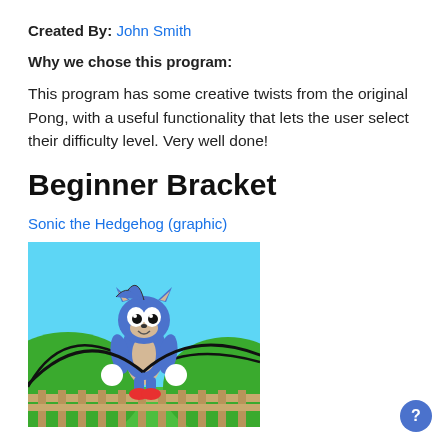Created By: John Smith
Why we chose this program:
This program has some creative twists from the original Pong, with a useful functionality that lets the user select their difficulty level. Very well done!
Beginner Bracket
Sonic the Hedgehog (graphic)
[Figure (illustration): A cartoon drawing of Sonic the Hedgehog character standing against a backdrop of green hills and a light blue sky. The character has blue fur, large white eyes with black pupils, and is wearing white gloves. There is a wooden fence at the bottom.]